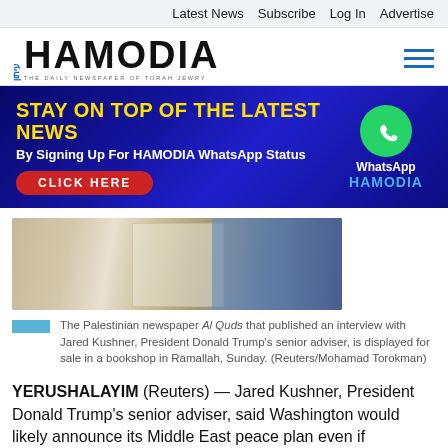Latest News   Subscribe   Log In   Advertise
[Figure (logo): Hamodia newspaper logo with Hebrew text and tagline 'THE DAILY NEWSPAPER OF TORAH JEWRY']
[Figure (infographic): Banner ad: STAY ON TOP OF THE LATEST NEWS By Signing Up For HAMODIA WhatsApp Status - CLICK HERE, with WhatsApp icon and HAMODIA branding]
[Figure (photo): The Palestinian newspaper Al Quds displayed for sale in a bookshop in Ramallah]
The Palestinian newspaper Al Quds that published an interview with Jared Kushner, President Donald Trump's senior adviser, is displayed for sale in a bookshop in Ramallah, Sunday. (Reuters/Mohamad Torokman)
YERUSHALAYIM (Reuters) — Jared Kushner, President Donald Trump's senior adviser, said Washington would likely announce its Middle East peace plan even if Palestinian leader Mahmoud Abbas, angered by U.S. policy